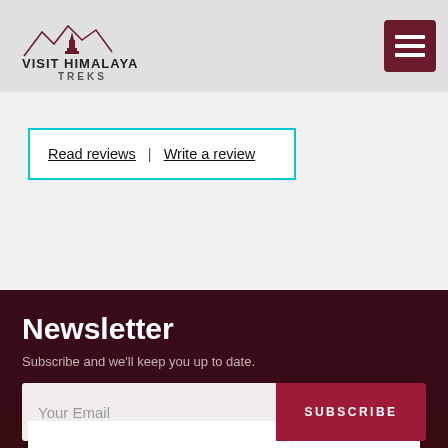VISIT HIMALAYA TREKS
Read reviews | Write a review
Newsletter
Subscribe and we'll keep you up to date.
Your Email  SUBSCRIBE